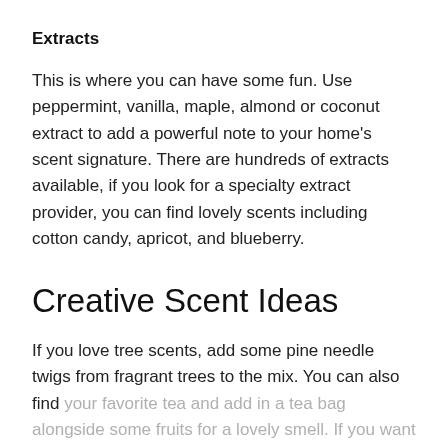Extracts
This is where you can have some fun. Use peppermint, vanilla, maple, almond or coconut extract to add a powerful note to your home's scent signature. There are hundreds of extracts available, if you look for a specialty extract provider, you can find lovely scents including cotton candy, apricot, and blueberry.
Creative Scent Ideas
If you love tree scents, add some pine needle twigs from fragrant trees to the mix. You can also find your favorite tea and add in a tea bag alongside some fruits for a lovely smell. If you want